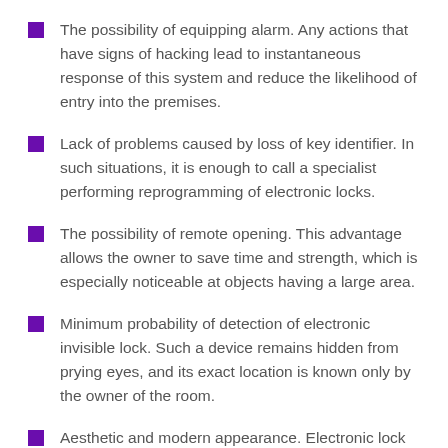The possibility of equipping alarm. Any actions that have signs of hacking lead to instantaneous response of this system and reduce the likelihood of entry into the premises.
Lack of problems caused by loss of key identifier. In such situations, it is enough to call a specialist performing reprogramming of electronic locks.
The possibility of remote opening. This advantage allows the owner to save time and strength, which is especially noticeable at objects having a large area.
Minimum probability of detection of electronic invisible lock. Such a device remains hidden from prying eyes, and its exact location is known only by the owner of the room.
Aesthetic and modern appearance. Electronic lock